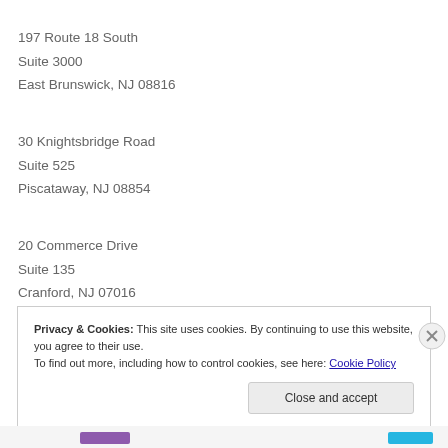197 Route 18 South
Suite 3000
East Brunswick, NJ 08816
30 Knightsbridge Road
Suite 525
Piscataway, NJ 08854
20 Commerce Drive
Suite 135
Cranford, NJ 07016
Privacy & Cookies: This site uses cookies. By continuing to use this website, you agree to their use.
To find out more, including how to control cookies, see here: Cookie Policy
Close and accept